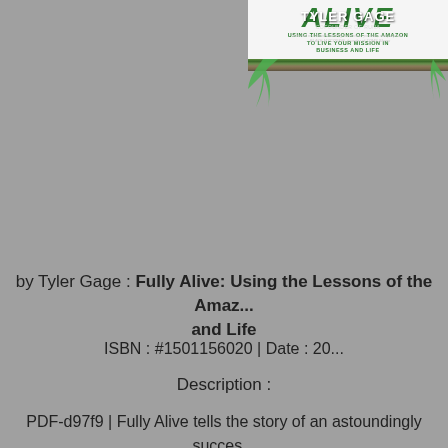[Figure (illustration): Book cover of 'Fully Alive: Using the Lessons of the Amazon to Live Your Mission in Business and Life' by Tyler Gage, Cofounder of RUNA. The cover shows three people in a jungle setting, with green tropical design elements and a quote from Blake Mycoskie, founder of TOMS Shoes.]
by Tyler Gage : Fully Alive: Using the Lessons of the Amazon... and Life
ISBN : #1501156020 | Date : 20...
Description :
PDF-d97f9 | Fully Alive tells the story of an astoundingly success... Amazonian indigenous spirituality, its life-changing impact on him... learned to build a successful, socially responsible company, live...